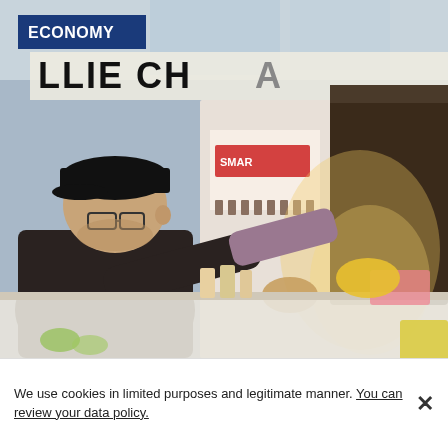[Figure (photo): A man wearing a black cap and dark jacket at a market stall, reaching across a counter to a vendor wearing yellow gloves. The background shows market stalls with products and signage including 'LLIE CHA...' text. The ECONOMY badge overlays the top-left of the photo.]
We use cookies in limited purposes and legitimate manner. You can review your data policy.